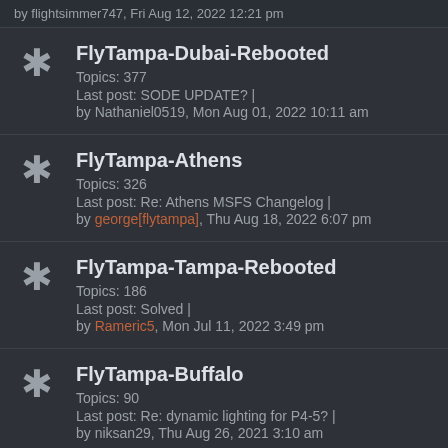by flightsimmer747, Fri Aug 12, 2022 12:21 pm
FlyTampa-Dubai-Rebooted
Topics: 377
Last post: SODE UPDATE? |
by Nathaniel0519, Mon Aug 01, 2022 10:11 am
FlyTampa-Athens
Topics: 326
Last post: Re: Athens MSFS Changelog |
by george[flytampa], Thu Aug 18, 2022 6:07 pm
FlyTampa-Tampa-Rebooted
Topics: 186
Last post: Solved |
by Rameric5, Mon Jul 11, 2022 3:49 pm
FlyTampa-Buffalo
Topics: 90
Last post: Re: dynamic lighting for P4-5? |
by niksan29, Thu Aug 26, 2021 3:10 am
FlyTampa-Copenha...